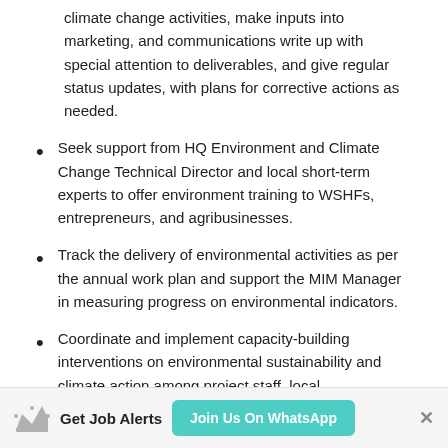climate change activities, make inputs into marketing, and communications write up with special attention to deliverables, and give regular status updates, with plans for corrective actions as needed.
Seek support from HQ Environment and Climate Change Technical Director and local short-term experts to offer environment training to WSHFs, entrepreneurs, and agribusinesses.
Track the delivery of environmental activities as per the annual work plan and support the MIM Manager in measuring progress on environmental indicators.
Coordinate and implement capacity-building interventions on environmental sustainability and climate action among project staff, local implementing partners, and other
Get Job Alerts  Join Us On WhatsApp  ×